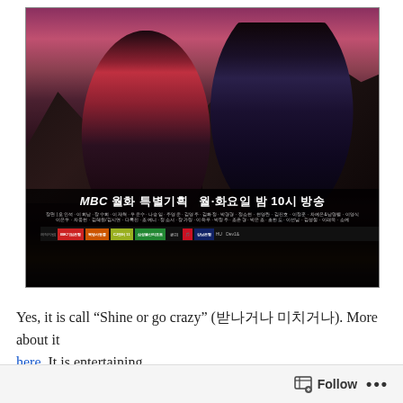[Figure (photo): Promotional poster for the MBC Korean drama 'Shine or Go Crazy'. Two characters in traditional Korean costumes sit against a dramatic dark mountain landscape with a reddish-purple sky. One character wears red, the other dark blue-black armor. Text at the bottom reads: MBC 월화 특별기획 월·화요일 밤 10시 방송, followed by cast credits and sponsor logos.]
Yes, it is call "Shine or go crazy" (빛나거나 미치거나). More about it here. It is entertaining.
Follow ...